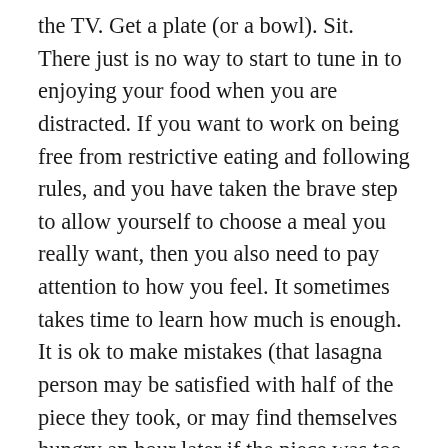the TV. Get a plate (or a bowl). Sit. There just is no way to start to tune in to enjoying your food when you are distracted. If you want to work on being free from restrictive eating and following rules, and you have taken the brave step to allow yourself to choose a meal you really want, then you also need to pay attention to how you feel. It sometimes takes time to learn how much is enough. It is ok to make mistakes (that lasagna person may be satisfied with half of the piece they took, or may find themselves hungry an hour later if the piece was too small). It is a learning process. If you don't pay attention and tune in to your tummy and how you feel, you will miss it